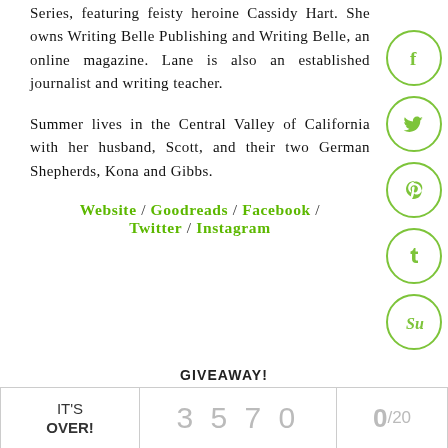Series, featuring feisty heroine Cassidy Hart. She owns Writing Belle Publishing and Writing Belle, an online magazine. Lane is also an established journalist and writing teacher.
Summer lives in the Central Valley of California with her husband, Scott, and their two German Shepherds, Kona and Gibbs.
Website / Goodreads / Facebook / Twitter / Instagram
GIVEAWAY!
| IT'S OVER! | 3 5 7 0 | 0/20 |